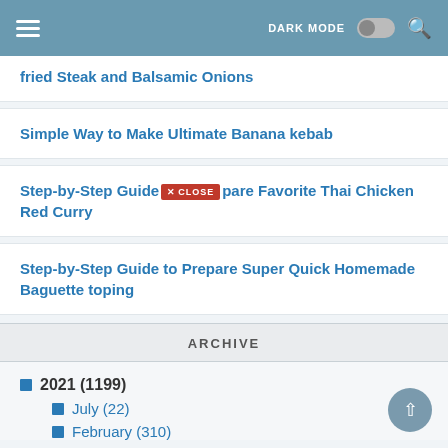DARK MODE [toggle] [search]
fried Steak and Balsamic Onions
Simple Way to Make Ultimate Banana kebab
Step-by-Step Guide to Prepare Favorite Thai Chicken Red Curry
Step-by-Step Guide to Prepare Super Quick Homemade Baguette toping
ARCHIVE
2021 (1199)
July (22)
February (310)